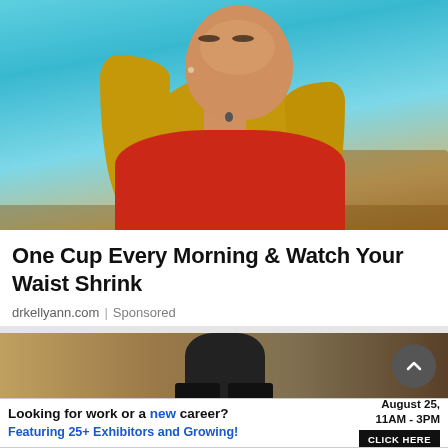[Figure (photo): Blonde woman in red top seated in a TV studio with teal/turquoise background, looking slightly upward and to the side, wearing earrings]
One Cup Every Morning & Watch Your Waist Shrink
drkellyann.com | Sponsored
[Figure (photo): Partial view of a person's lower body/legs in dark pants against a sandy/beige background, with a circular dark back-to-top button on the right]
[Figure (infographic): Banner advertisement: 'Looking for work or a new career? August 25, 11AM - 3PM. Featuring 25+ Exhibitors and Growing! CLICK HERE']